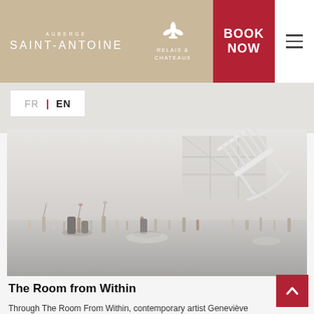AUBERGE SAINT-ANTOINE | RELAIS & CHATEAUX | BOOK NOW
FR | EN
[Figure (photo): Art installation photo showing a white rocking chair suspended or tilted in a bright white gallery space with many small glass bottles and figurines arranged on the floor around it, with large windows in the background.]
The Room from Within
Through The Room From Within, contemporary artist Geneviève Lebel invites you to dive deep into the intimacy of a meeting within yourself.